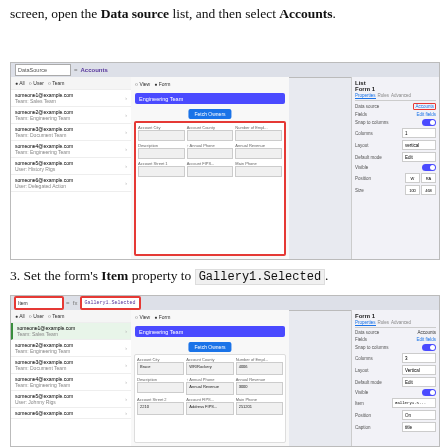screen, open the Data source list, and then select Accounts.
[Figure (screenshot): PowerApps studio screenshot showing a gallery connected to Accounts data source with a form showing fields outlined in red]
3. Set the form's Item property to Gallery1.Selected.
[Figure (screenshot): PowerApps studio screenshot showing Item property set to Gallery1.Selected with a form displaying account data]